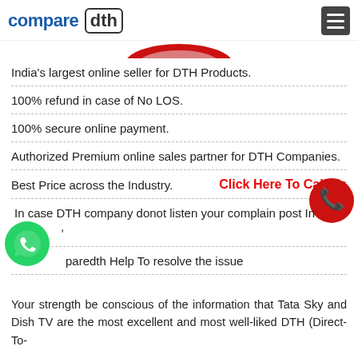compare dth [hamburger menu]
[Figure (illustration): Partial red oval/banner graphic visible at top center]
India's largest online seller for DTH Products.
100% refund in case of No LOS.
100% secure online payment.
Authorized Premium online sales partner for DTH Companies.
Best Price across the Industry.
[Figure (infographic): Click Here To Call Us text link with red phone icon circle]
In case DTH company donot listen your complain post In [WhatsApp icon overlapping],
paredth Help To resolve the issue
Your strength be conscious of the information that Tata Sky and Dish TV are the most excellent and most well-liked DTH (Direct-To-